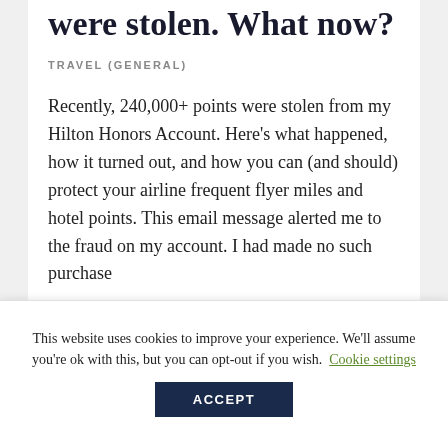were stolen. What now?
TRAVEL (GENERAL)
Recently, 240,000+ points were stolen from my Hilton Honors Account. Here's what happened, how it turned out, and how you can (and should) protect your airline frequent flyer miles and hotel points. This email message alerted me to the fraud on my account. I had made no such purchase
This website uses cookies to improve your experience. We'll assume you're ok with this, but you can opt-out if you wish. Cookie settings ACCEPT